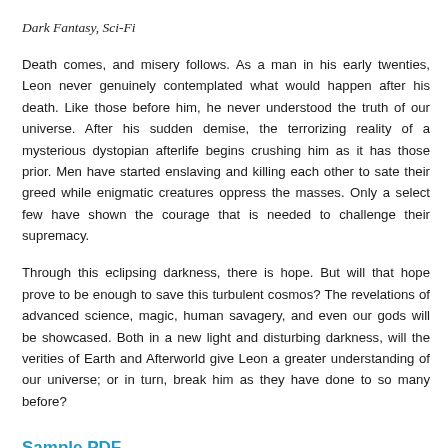Dark Fantasy, Sci-Fi
Death comes, and misery follows. As a man in his early twenties, Leon never genuinely contemplated what would happen after his death. Like those before him, he never understood the truth of our universe. After his sudden demise, the terrorizing reality of a mysterious dystopian afterlife begins crushing him as it has those prior. Men have started enslaving and killing each other to sate their greed while enigmatic creatures oppress the masses. Only a select few have shown the courage that is needed to challenge their supremacy.
Through this eclipsing darkness, there is hope. But will that hope prove to be enough to save this turbulent cosmos? The revelations of advanced science, magic, human savagery, and even our gods will be showcased. Both in a new light and disturbing darkness, will the verities of Earth and Afterworld give Leon a greater understanding of our universe; or in turn, break him as they have done to so many before?
Sample PDF